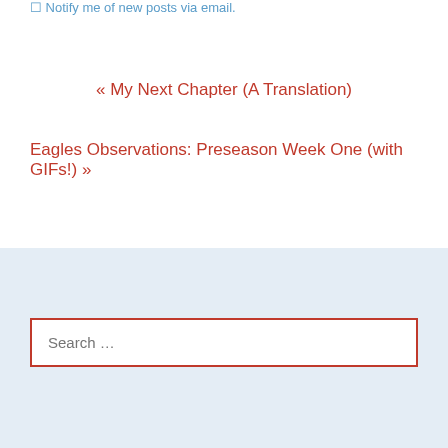Notify me of new posts via email.
« My Next Chapter (A Translation)
Eagles Observations: Preseason Week One (with GIFs!) »
Search …
[Figure (logo): WordPress Follow button with W logo icon]